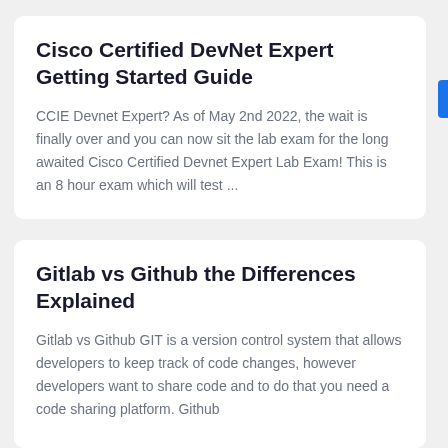Cisco Certified DevNet Expert Getting Started Guide
CCIE Devnet Expert? As of May 2nd 2022, the wait is finally over and you can now sit the lab exam for the long awaited Cisco Certified Devnet Expert Lab Exam! This is an 8 hour exam which will test ...
Gitlab vs Github the Differences Explained
Gitlab vs Github GIT is a version control system that allows developers to keep track of code changes, however developers want to share code and to do that you need a code sharing platform. Github